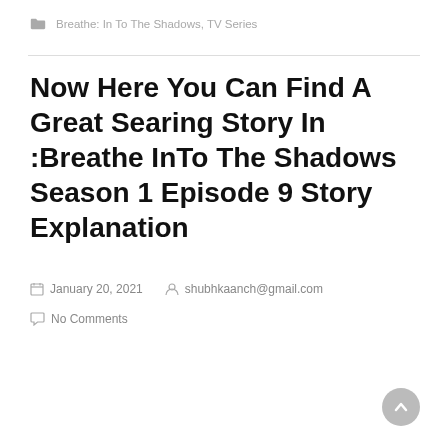Breathe: In To The Shadows, TV Series
Now Here You Can Find A Great Searing Story In :Breathe InTo The Shadows Season 1 Episode 9 Story Explanation
January 20, 2021   shubhkaanch@gmail.com
No Comments